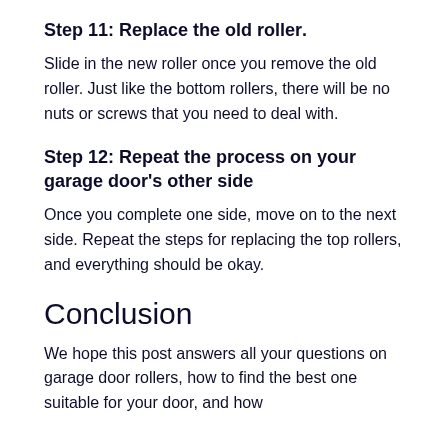Step 11: Replace the old roller.
Slide in the new roller once you remove the old roller. Just like the bottom rollers, there will be no nuts or screws that you need to deal with.
Step 12: Repeat the process on your garage door's other side
Once you complete one side, move on to the next side. Repeat the steps for replacing the top rollers, and everything should be okay.
Conclusion
We hope this post answers all your questions on garage door rollers, how to find the best one suitable for your door, and how